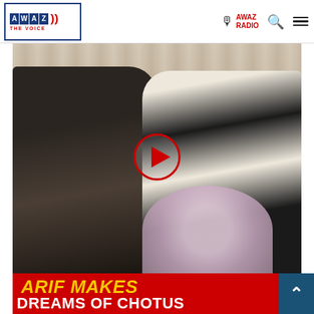AWAZ THE VOICE | AWAZ RADIO
[Figure (photo): Two men greeting each other with flowers. One man wears a black patterned shirt and the other wears a white kurta with a black vest and white cap. A red play button circle overlay is shown in the center of the image.]
[Figure (infographic): Red banner with bold yellow text 'ARIF MAKES' and white text 'DREAMS OF CHOTUS' below it, plus a blue scroll-to-top button on the right.]